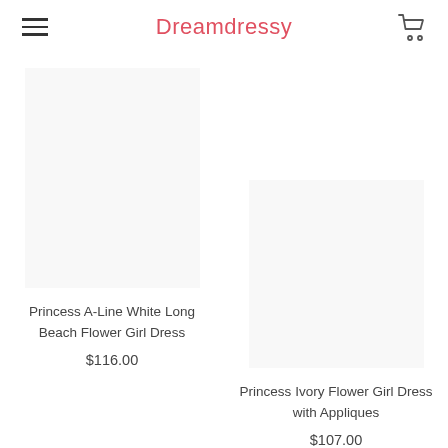Dreamdressy
Princess A-Line White Long Beach Flower Girl Dress
$116.00
Princess Ivory Flower Girl Dress with Appliques
$107.00